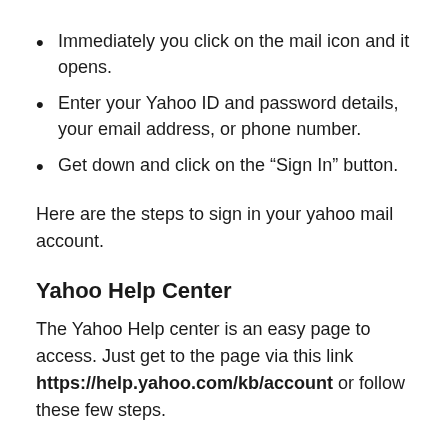Immediately you click on the mail icon and it opens.
Enter your Yahoo ID and password details, your email address, or phone number.
Get down and click on the “Sign In” button.
Here are the steps to sign in your yahoo mail account.
Yahoo Help Center
The Yahoo Help center is an easy page to access. Just get to the page via this link https://help.yahoo.com/kb/account or follow these few steps.